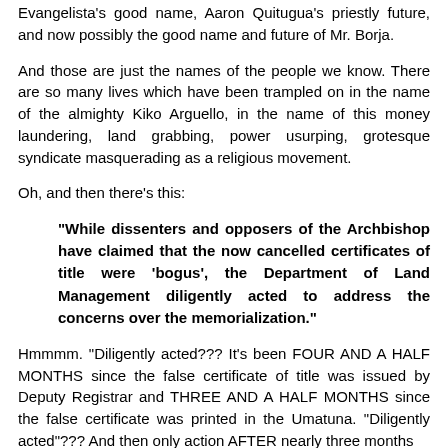Evangelista's good name, Aaron Quitugua's priestly future, and now possibly the good name and future of Mr. Borja.
And those are just the names of the people we know. There are so many lives which have been trampled on in the name of the almighty Kiko Arguello, in the name of this money laundering, land grabbing, power usurping, grotesque syndicate masquerading as a religious movement.
Oh, and then there's this:
"While dissenters and opposers of the Archbishop have claimed that the now cancelled certificates of title were 'bogus', the Department of Land Management diligently acted to address the concerns over the memorialization."
Hmmmm. "Diligently acted??? It's been FOUR AND A HALF MONTHS since the false certificate of title was issued by Deputy Registrar and THREE AND A HALF MONTHS since the false certificate was printed in the Umatuna. "Diligently acted"??? And then only action AFTER nearly three months